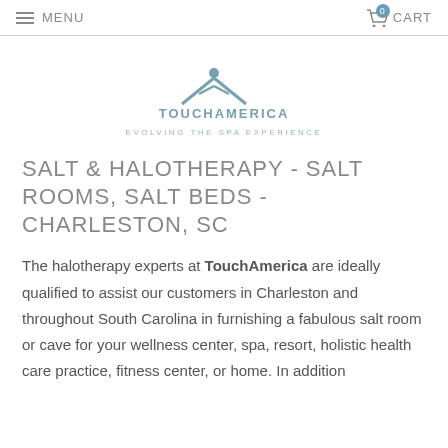MENU   CART
[Figure (logo): TouchAmerica logo with stylized roof/person icon above. Text: TOUCHAMERICA, EVOLVING THE SPA EXPERIENCE]
SALT & HALOTHERAPY - SALT ROOMS, SALT BEDS - CHARLESTON, SC
The halotherapy experts at TouchAmerica are ideally qualified to assist our customers in Charleston and throughout South Carolina in furnishing a fabulous salt room or cave for your wellness center, spa, resort, holistic health care practice, fitness center, or home. In addition